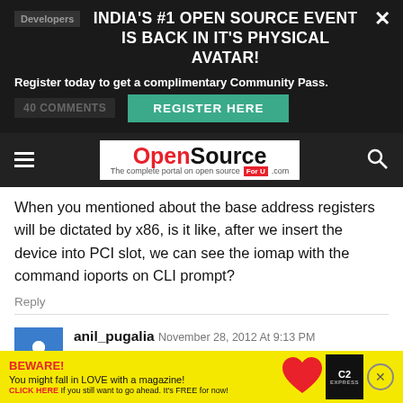[Figure (screenshot): Dark-themed advertisement banner: INDIA'S #1 OPEN SOURCE EVENT IS BACK IN IT'S PHYSICAL AVATAR! with Register Here button]
[Figure (logo): OpenSource For U .com logo in navbar]
When you mentioned about the base address registers will be dictated by x86, is it like, after we insert the device into PCI slot, we can see the iomap with the command ioports on CLI prompt?
Reply
anil_pugalia November 28, 2012 At 9:13 PM
Please read carefully. If it is *not* a PCI device, its base address (not register) will be dictated by x86
[Figure (screenshot): Yellow bottom advertisement: BEWARE! You might fall in LOVE with a magazine!]